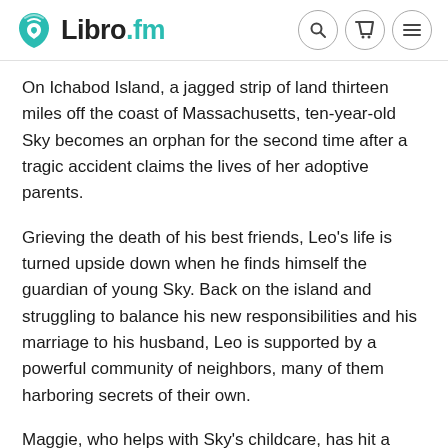Libro.fm
On Ichabod Island, a jagged strip of land thirteen miles off the coast of Massachusetts, ten-year-old Sky becomes an orphan for the second time after a tragic accident claims the lives of her adoptive parents.
Grieving the death of his best friends, Leo's life is turned upside down when he finds himself the guardian of young Sky. Back on the island and struggling to balance his new responsibilities and his marriage to his husband, Leo is supported by a powerful community of neighbors, many of them harboring secrets of their own.
Maggie, who helps with Sky's childcare, has hit a breaking point with her police chief husband, who